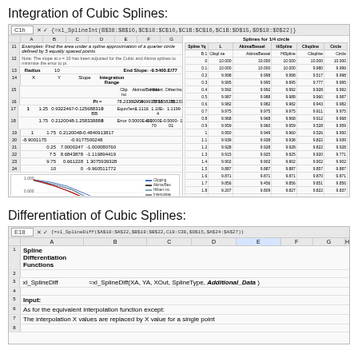Integration of Cubic Splines:
[Figure (screenshot): Excel spreadsheet showing cubic spline integration example with a quarter circle approximation, including a chart showing multiple spline curves (Clipping, Akima/Bessel, Hilbert, Interpolated, Circle) and a table of spline values for different radii from 0 to 3.2]
Differentiation of Cubic Splines:
[Figure (screenshot): Excel spreadsheet showing cubic spline differentiation functions. Cell E18 selected with formula =xl_SplineDiff($A$18:$A$22,$B$18:$B$22,C18:C38,$D$15,$A$24:$A$27). Contains rows: 1-Spline Differentiation Functions, 3-xl_SplineDiff with function signature =xl_SplineDiff(XA, YA, XOut, SplineType, Additional_Data), 5-Input:, 6-As for the equivalent interpolation function except:, 7-The interpolation X values are replaced by X value for a single point]